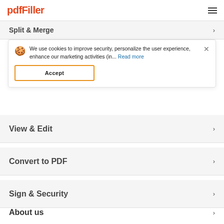pdfFiller
Split & Merge
We use cookies to improve security, personalize the user experience, enhance our marketing activities (in... Read more
Accept
View & Edit
Convert to PDF
Sign & Security
About us